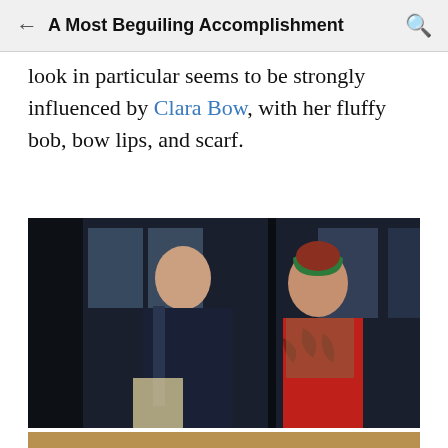A Most Beguiling Accomplishment
look in particular seems to be strongly influenced by Clara Bow, with her fluffy bob, bow lips, and scarf.
[Figure (photo): A movie still showing two characters: a man in a dark suit on the left and a woman in a red vintage-style dress with a green headscarf/bandana on the right. The setting appears to be an industrial or workshop interior.]
[Figure (photo): Partial view of another image at the bottom of the page, partially cropped.]